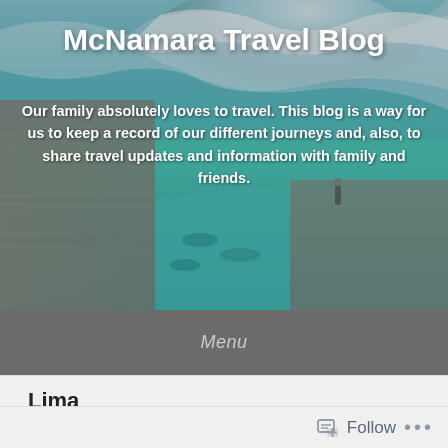[Figure (photo): Aerial view of a coastal ocean pool/seawater swimming area with turquoise water, ocean waves crashing in the background, a concrete walkway/deck visible on the left, and people swimming and walking along the pool edge.]
McNamara Travel Blog
Our family absolutely loves to travel. This blog is a way for us to keep a record of our different journeys and, also, to share travel updates and information with family and friends.
Menu
Lima
Posted on June 29, 2008 by Mary McNamara